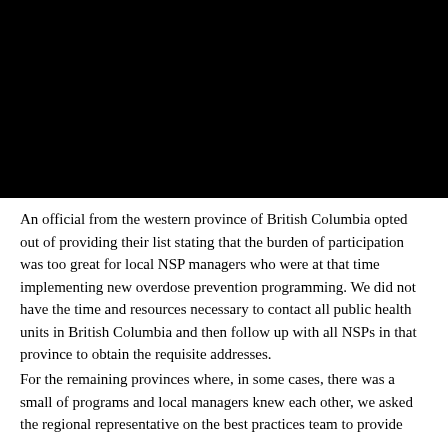[Figure (photo): Black image/photo block occupying the top portion of the page]
An official from the western province of British Columbia opted out of providing their list stating that the burden of participation was too great for local NSP managers who were at that time implementing new overdose prevention programming. We did not have the time and resources necessary to contact all public health units in British Columbia and then follow up with all NSPs in that province to obtain the requisite addresses.
For the remaining provinces where, in some cases, there was a small of programs and local managers knew each other, we asked the regional representative on the best practices team to provide contact information for NSP managers in their province.